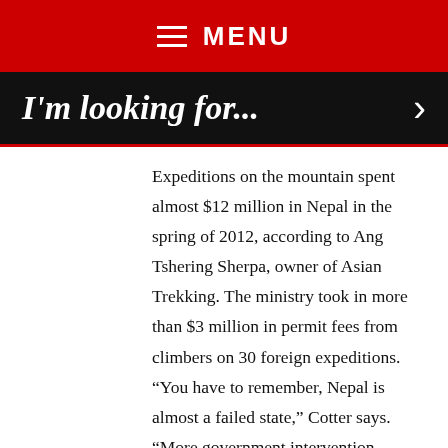MENU
I'm looking for...
Expeditions on the mountain spent almost $12 million in Nepal in the spring of 2012, according to Ang Tshering Sherpa, owner of Asian Trekking. The ministry took in more than $3 million in permit fees from climbers on 30 foreign expeditions. “You have to remember, Nepal is almost a failed state,” Cotter says. “More government intervention would only encourage more corruption.” Dave Hahn, a high-altitude guide whose 14 Everest summits are an American record, agrees. Expecting the Nepalese government to institute solutions isn’t realistic, he says. “Everest operators must come together to self-regulate the situation.”